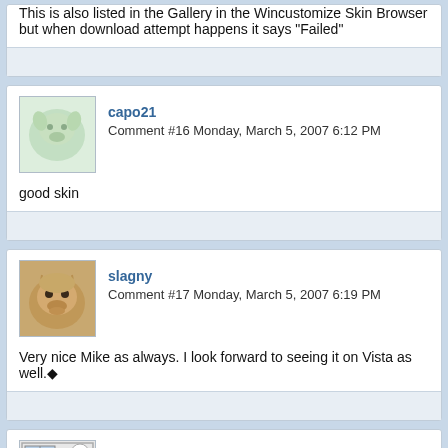This is also listed in the Gallery in the Wincustomize Skin Browser but when download attempt happens it says "Failed"
capo21
Comment #16 Monday, March 5, 2007 6:12 PM
good skin
slagny
Comment #17 Monday, March 5, 2007 6:19 PM
Very nice Mike as always. I look forward to seeing it on Vista as well.
vStyler
Comment #18 Monday, March 5, 2007 6:26 PM